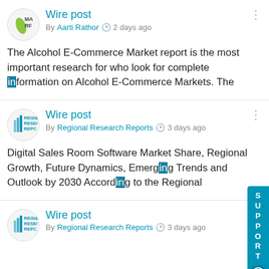[Figure (screenshot): Social media feed showing wire posts from market research outlets]
Wire post
By Aarti Rathor  2 days ago
The Alcohol E-Commerce Market report is the most important research for who look for complete information on Alcohol E-Commerce Markets. The
Wire post
By Regional Research Reports  3 days ago
Digital Sales Room Software Market Share, Regional Growth, Future Dynamics, Emerging Trends and Outlook by 2030 According to the Regional
Wire post
By Regional Research Reports  3 days ago